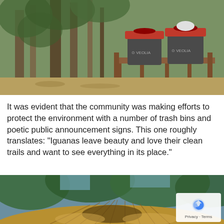[Figure (photo): Outdoor forest scene with two dark gray Veolia branded trash bins with red lids placed on a wooden platform/shelf. Trees, vines and vegetation visible in the background.]
It was evident that the community was making efforts to protect the environment with a number of trash bins and poetic public announcement signs. This one roughly translates: "Iguanas leave beauty and love their clean trails and want to see everything in its place."
[Figure (photo): Upward view of a thatched palm-leaf roof (palapa) with trees and blue sky visible in the background. A reCAPTCHA Privacy - Terms badge is overlaid in the bottom right corner.]